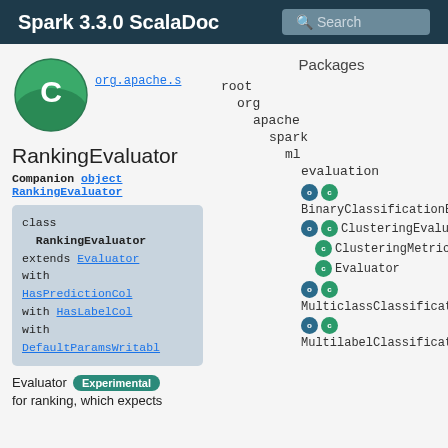Spark 3.3.0 ScalaDoc  Search
[Figure (logo): Green circle with white C letter, Scala/Spark class icon]
org.apache.s
RankingEvaluator
Companion object RankingEvaluator
class RankingEvaluator extends Evaluator with HasPredictionCol with HasLabelCol with DefaultParamsWritable
Evaluator  Experimental  for ranking, which expects
Packages
root
org
apache
spark
ml
evaluation
BinaryClassificationEvaluator
ClusteringEvaluator
ClusteringMetrics
Evaluator
MulticlassClassificationEvaluator
MultilabelClassificationEvaluator